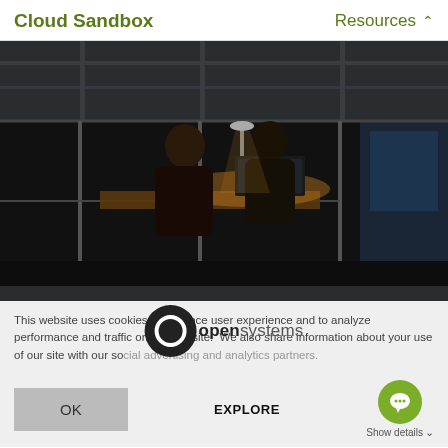Cloud Sandbox | Resources
[Figure (photo): Two people working at a desk with computers in a dark industrial server room or data center, viewed through glass panels. The scene is dimly lit with overhead industrial lights.]
This website uses cookies to enhance user experience and to analyze performance and traffic on our website.  We also share information about your use of our site with our social advertising and analytics partners.
[Figure (logo): Open Systems logo: a large dark circle with letter O and the text 'opensystems' beside it]
OK
EXPLORE
Show details